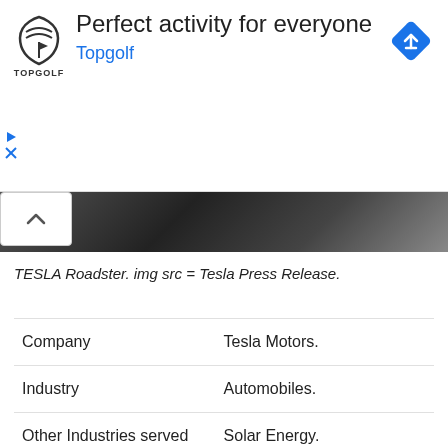[Figure (screenshot): Topgolf advertisement banner with logo, 'Perfect activity for everyone' headline, 'Topgolf' subtitle in blue, blue diamond navigation icon top right, and ad controls (play/close icons) bottom left.]
[Figure (photo): Dark gradient image strip showing the top portion of a TESLA Roadster photo, partially collapsed.]
TESLA Roadster. img src = Tesla Press Release.
| Company | Tesla Motors. |
| Industry | Automobiles. |
| Other Industries served | Solar Energy. |
| CEO | Elon Musk. |
| Founded | 2003. |